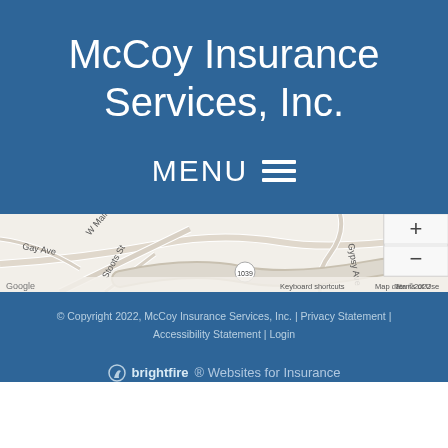McCoy Insurance Services, Inc.
MENU ☰
[Figure (map): Google Maps showing local street map with roads including Gay Ave, W Main St, Gypsy Ave, Pruner St, Stoots St, and route 1039. Map includes zoom controls (+/-) on the right side. Footer shows 'Google', 'Keyboard shortcuts', 'Map data ©2022', 'Terms of Use'.]
© Copyright 2022, McCoy Insurance Services, Inc. | Privacy Statement | Accessibility Statement | Login
brightfire Websites for Insurance